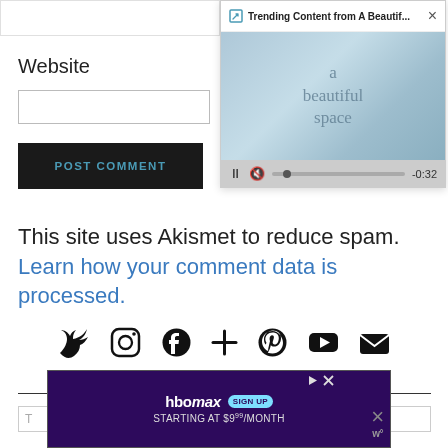Website
[Figure (screenshot): Trending Content popup from 'A Beautif...' showing a blue-toned image with text 'a beautiful space' and media player controls showing -0:32]
This site uses Akismet to reduce spam. Learn how your comment data is processed.
[Figure (infographic): Social media icons row: Twitter, Instagram, Facebook, Plus, Pinterest, YouTube, Email]
Search
[Figure (screenshot): HBO Max advertisement banner: 'HBO max SIGN UP STARTING AT $9.99/MONTH' on purple background with close buttons]